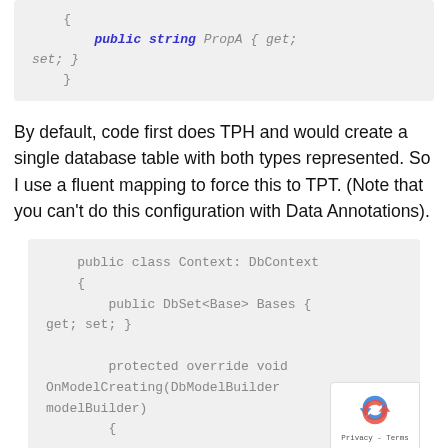[Figure (screenshot): Code block showing C# class with public string PropA { get; set; } and closing brace]
By default, code first does TPH and would create a single database table with both types represented. So I use a fluent mapping to force this to TPT. (Note that you can't do this configuration with Data Annotations).
[Figure (screenshot): Code block showing C# public class Context: DbContext with DbSet<Base> Bases property and protected override void OnModelCreating(DbModelBuilder modelBuilder) method]